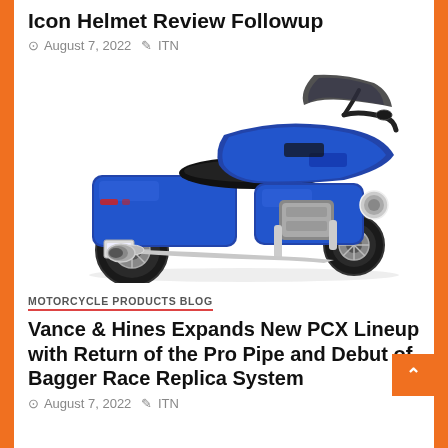Icon Helmet Review Followup
August 7, 2022  ITN
[Figure (photo): Blue Harley-Davidson touring motorcycle (bagger style) photographed from the rear-left angle, showing chrome exhaust pipes, blue saddlebags, rear wheel, and handlebars against a white background.]
MOTORCYCLE PRODUCTS BLOG
Vance & Hines Expands New PCX Lineup with Return of the Pro Pipe and Debut of Bagger Race Replica System
August 7, 2022  ITN